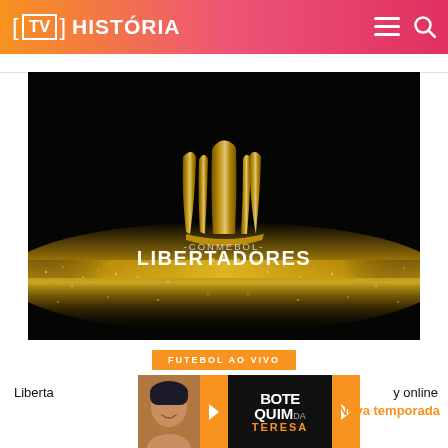[TV] HISTÓRIA
[Figure (illustration): CONMEBOL Libertadores logo — golden trophy symbol above gold glitter/particle ground on black background, text '-CONMEBOL-' and 'LIBERTADORES' in white/gold below the trophy]
FUTEBOL AO VIVO
Liberta... y online
[Figure (photo): Smiling woman with dark headwrap, promotional photo for Botequim da Teresa]
[Figure (infographic): Botequim da Teresa advertisement with orange arrows and dark center panel showing BOTE QUIMda TERESA text]
Nova temporada